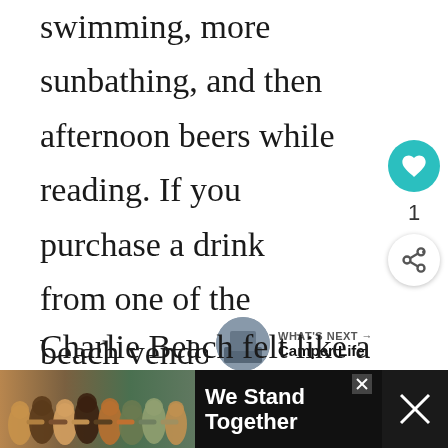swimming, more sunbathing, and then afternoon beers while reading. If you purchase a drink from one of the beach vendors you can use their chairs for the day, and you can also rent a sun lounger all day for just a few dollars.
Charlie Beach felt like a true vacation, which is why we would recommend spending the ca... at least!
[Figure (screenshot): Advertisement banner: group of people seen from behind with arms around each other, text 'We Stand Together' in white on dark background]